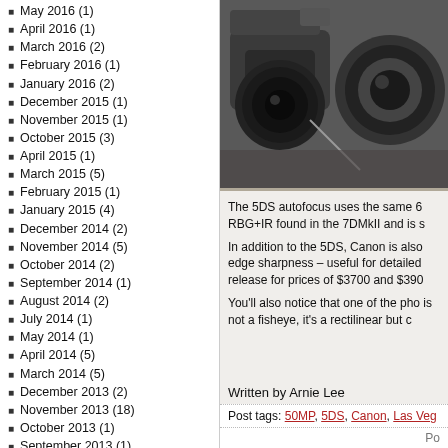May 2016 (1)
April 2016 (1)
March 2016 (2)
February 2016 (1)
January 2016 (2)
December 2015 (1)
November 2015 (1)
October 2015 (3)
April 2015 (1)
March 2015 (5)
February 2015 (1)
January 2015 (4)
December 2014 (2)
November 2014 (5)
October 2014 (2)
September 2014 (1)
August 2014 (2)
July 2014 (1)
May 2014 (1)
April 2014 (5)
March 2014 (5)
December 2013 (2)
November 2013 (18)
October 2013 (1)
September 2013 (1)
August 2013 (1)
July 2013 (1)
June 2013 (3)
May 2013 (1)
April 2013 (2)
March 2013 (1)
February 2013 (1)
[Figure (photo): Close-up photo of camera equipment including camera body and lenses]
The 5DS autofocus uses the same 6 RBG+IR found in the 7DMkII and is s
In addition to the 5DS, Canon is also edge sharpness – useful for detailed release for prices of $3700 and $390
You'll also notice that one of the pho is not a fisheye, it's a rectilinear but c
Written by Arnie Lee
Post tags: 50MP, 5DS, Canon, Las Veg
Po